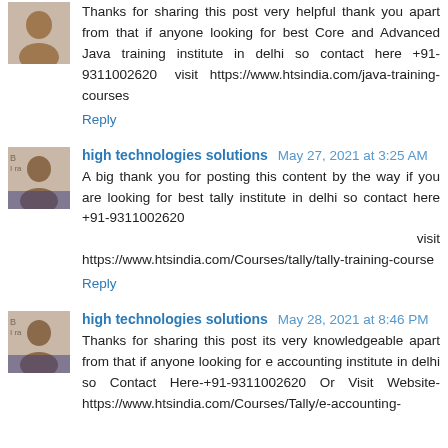Thanks for sharing this post very helpful thank you apart from that if anyone looking for best Core and Advanced Java training institute in delhi so contact here +91-9311002620 visit https://www.htsindia.com/java-training-courses
Reply
high technologies solutions  May 27, 2021 at 3:25 AM
A big thank you for posting this content by the way if you are looking for best tally institute in delhi so contact here +91-9311002620                                                          visit https://www.htsindia.com/Courses/tally/tally-training-course
Reply
high technologies solutions  May 28, 2021 at 8:46 PM
Thanks for sharing this post its very knowledgeable apart from that if anyone looking for e accounting institute in delhi so Contact Here-+91-9311002620 Or Visit Website-https://www.htsindia.com/Courses/Tally/e-accounting-